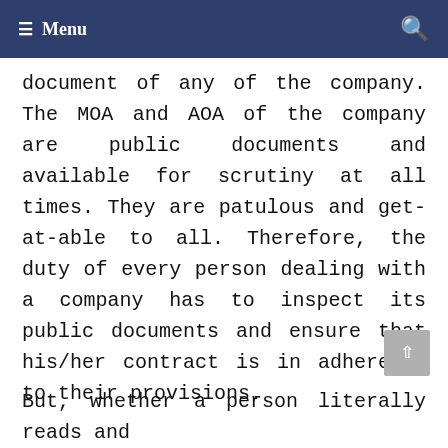≡ Menu
document of any of the company. The MOA and AOA of the company are public documents and available for scrutiny at all times. They are patulous and get-at-able to all. Therefore, the duty of every person dealing with a company has to inspect its public documents and ensure that his/her contract is in adherence to their provisions.
But, whether a person literally reads and